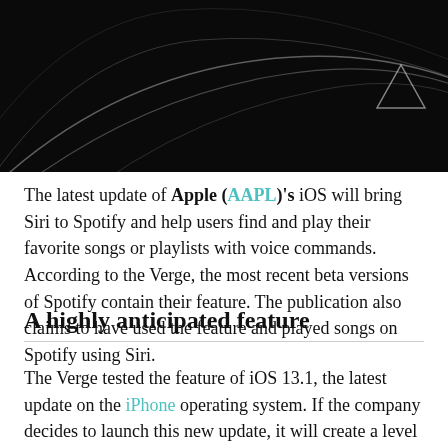[Figure (illustration): Dark background image with abstract curved white/light lines forming sweeping arcs. A small triangular geometric shape appears in the upper right corner.]
The latest update of Apple (AAPL)'s iOS will bring Siri to Spotify and help users find and play their favorite songs or playlists with voice commands. According to the Verge, the most recent beta versions of Spotify contain their feature. The publication also claims to have used the feature and played songs on Spotify using Siri.
A highly anticipated feature
The Verge tested the feature of iOS 13.1, the latest update on the iPhone operating system. If the company decides to launch this new update, it will create a level playing ground for its music streaming service. Till date, Apple Music, the native music service of Apple enjoyed